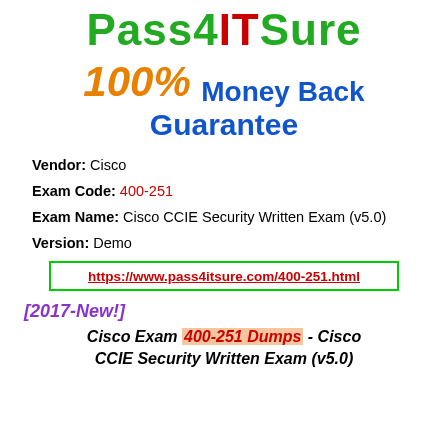Pass4IT Sure
[Figure (infographic): 100% Money Back Guarantee badge with orange 100%, blue 'Money Back Guarantee' text]
Vendor: Cisco
Exam Code: 400-251
Exam Name: Cisco CCIE Security Written Exam (v5.0)
Version: Demo
https://www.pass4itsure.com/400-251.html
[2017-New!]
Cisco Exam 400-251 Dumps - Cisco CCIE Security Written Exam (v5.0)